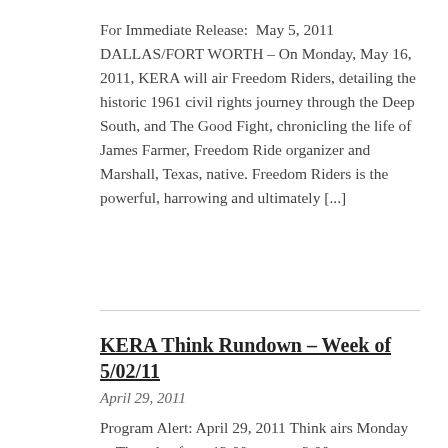For Immediate Release:  May 5, 2011 DALLAS/FORT WORTH – On Monday, May 16, 2011, KERA will air Freedom Riders, detailing the historic 1961 civil rights journey through the Deep South, and The Good Fight, chronicling the life of James Farmer, Freedom Ride organizer and Marshall, Texas, native. Freedom Riders is the powerful, harrowing and ultimately [...]
KERA Think Rundown – Week of 5/02/11
April 29, 2011
Program Alert: April 29, 2011 Think airs Monday to Thursday from 12:00 noon to 2:00 p.m. on KERA-FM. Podcasts and streamed video are available online at